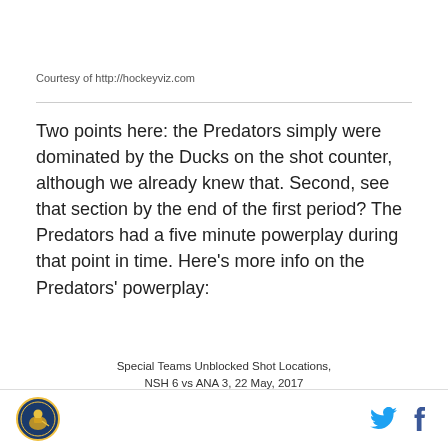Courtesy of http://hockeyviz.com
Two points here: the Predators simply were dominated by the Ducks on the shot counter, although we already knew that. Second, see that section by the end of the first period? The Predators had a five minute powerplay during that point in time. Here’s more info on the Predators’ powerplay:
Special Teams Unblocked Shot Locations, NSH 6 vs ANA 3, 22 May, 2017
Micah Blake McCurdy. @IneffectiveMath. hockeyviz.com